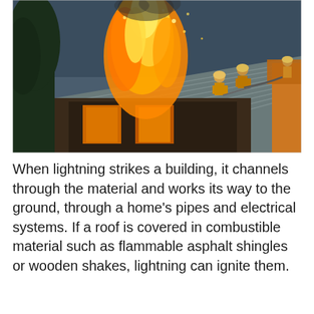[Figure (photo): Photograph of a building on fire with large orange flames and smoke rising from the roof. Several firefighters in protective gear are visible on the metal roof of the burning structure. A cherry picker or aerial lift is visible on the right side with additional firefighters. Trees are visible in the background against a dark sky.]
When lightning strikes a building, it channels through the material and works its way to the ground, through a home's pipes and electrical systems. If a roof is covered in combustible material such as flammable asphalt shingles or wooden shakes, lightning can ignite them.